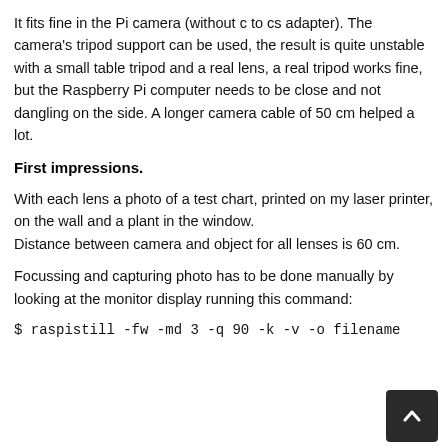It fits fine in the Pi camera (without c to cs adapter). The camera's tripod support can be used, the result is quite unstable with a small table tripod and a real lens, a real tripod works fine, but the Raspberry Pi computer needs to be close and not dangling on the side. A longer camera cable of 50 cm helped a lot.
First impressions.
With each lens a photo of a test chart, printed on my laser printer, on the wall and a plant in the window.
Distance between camera and object for all lenses is 60 cm.
Focussing and capturing photo has to be done manually by looking at the monitor display running this command:
$ raspistill -fw -md 3 -q 90 -k -v -o filename